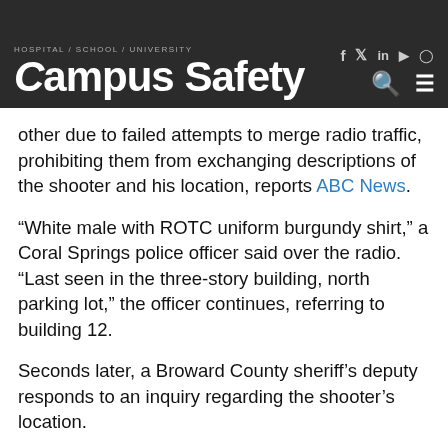HOSPITAL / SCHOOL / UNIVERSITY Campus Safety
other due to failed attempts to merge radio traffic, prohibiting them from exchanging descriptions of the shooter and his location, reports ABC News.
“White male with ROTC uniform burgundy shirt,” a Coral Springs police officer said over the radio. “Last seen in the three-story building, north parking lot,” the officer continues, referring to building 12.
Seconds later, a Broward County sheriff’s deputy responds to an inquiry regarding the shooter’s location.
“We don’t know, but we’re heading in the building, in front of the 13 building, building 13,” he said.
According to the report, the more than 25-year-old radio system is “nearing its end of life” and is expected to be